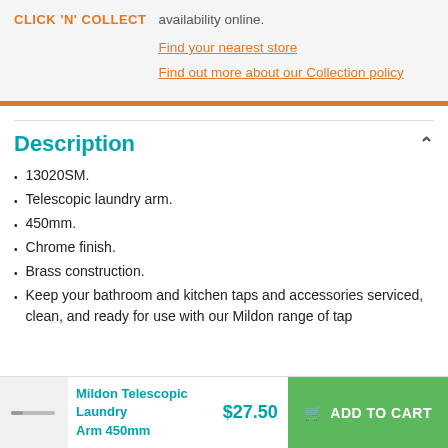CLICK 'N' COLLECT
availability online.
Find your nearest store
Find out more about our Collection policy
Description
13020SM.
Telescopic laundry arm.
450mm.
Chrome finish.
Brass construction.
Keep your bathroom and kitchen taps and accessories serviced, clean, and ready for use with our Mildon range of tap
Mildon Telescopic Laundry Arm 450mm   $27.50   ADD TO CART